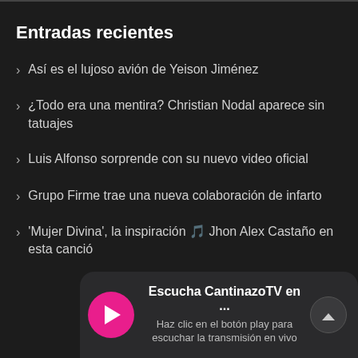Entradas recientes
Así es el lujoso avión de Yeison Jiménez
¿Todo era una mentira? Christian Nodal aparece sin tatuajes
Luis Alfonso sorprende con su nuevo video oficial
Grupo Firme trae una nueva colaboración de infarto
'Mujer Divina', la inspiración 🎵 Jhon Alex Castaño en esta canción
[Figure (screenshot): Media player overlay with pink play button, title 'Escucha CantinazoTV en ...' and subtitle 'Haz clic en el botón play para escuchar la transmisión en vivo', with a scroll-up button on the right.]